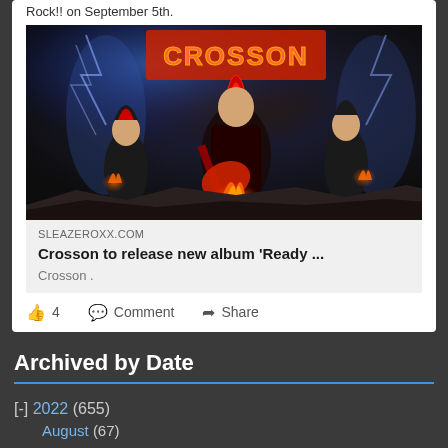Rock!! on September 5th.
[Figure (illustration): Album artwork for Crosson 'Ready to Rock' featuring animated rock band characters with fire effects and dramatic lighting]
SLEAZEROXX.COM
Crosson to release new album 'Ready ...
Crosson .
4   Comment   Share
Archived by Date
[-] 2022 (655)
August (67)